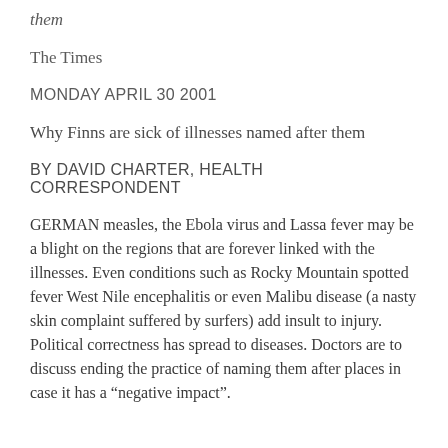them
The Times
MONDAY APRIL 30 2001
Why Finns are sick of illnesses named after them
BY DAVID CHARTER, HEALTH CORRESPONDENT
GERMAN measles, the Ebola virus and Lassa fever may be a blight on the regions that are forever linked with the illnesses. Even conditions such as Rocky Mountain spotted fever West Nile encephalitis or even Malibu disease (a nasty skin complaint suffered by surfers) add insult to injury. Political correctness has spread to diseases. Doctors are to discuss ending the practice of naming them after places in case it has a “negative impact”.